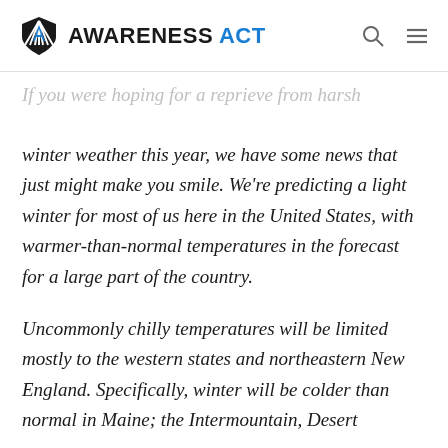AWARENESS ACT
If you were hoping for a reprieve from harsh winter weather this year, we have some news that just might make you smile. We're predicting a light winter for most of us here in the United States, with warmer-than-normal temperatures in the forecast for a large part of the country.
Uncommonly chilly temperatures will be limited mostly to the western states and northeastern New England. Specifically, winter will be colder than normal in Maine; the Intermountain, Desert